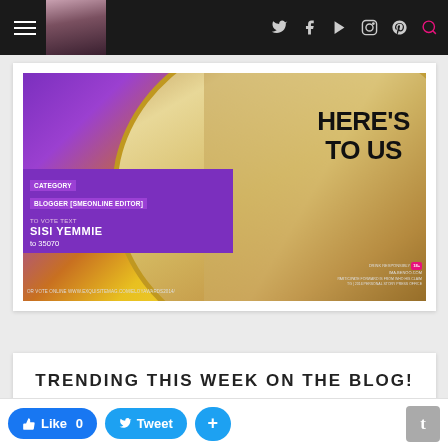Navigation bar with hamburger menu, user avatar, social icons (Twitter, Facebook, YouTube, Instagram, Pinterest) and search icon
[Figure (photo): Promotional image for blogging award. Left side shows a woman with curly purple-tinted hair wearing yellow. Right side shows cocktail glasses. Purple panel overlay reads: CATEGORY BLOGGER [SMEONLINE EDITOR] / TO VOTE TEXT / SISI YEMMIE / to 35070 / OR VOTE ONLINE WWW.EXQUISITEMAG.COM/ELOYAWARDS2014/. Background text on right: HERE'S TO US. Drink Responsibly badge. Ima.benoo.com 18+]
TRENDING THIS WEEK ON THE BLOG!
Like 0  Tweet  +  t